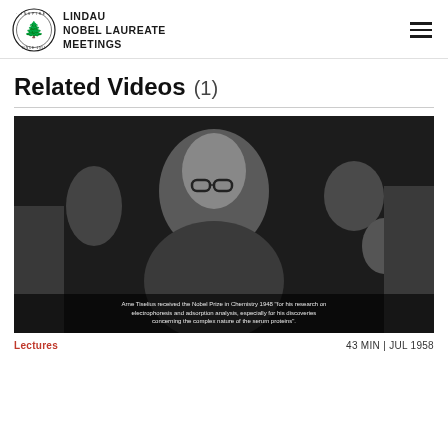LINDAU NOBEL LAUREATE MEETINGS
Related Videos  (1)
[Figure (photo): Black and white photograph of Arne Tiselius, with subtitle text: 'Arne Tiselius received the Nobel Prize in Chemistry 1948 "for his research on electrophoresis and adsorption analysis, especially for his discoveries concerning the complex nature of the serum proteins".']
Lectures    43 MIN | JUL 1958